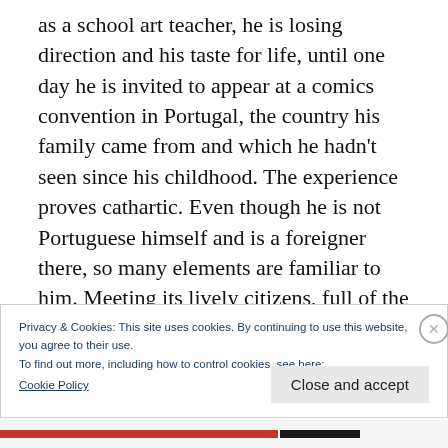as a school art teacher, he is losing direction and his taste for life, until one day he is invited to appear at a comics convention in Portugal, the country his family came from and which he hadn't seen since his childhood. The experience proves cathartic. Even though he is not Portuguese himself and is a foreigner there, so many elements are familiar to him. Meeting its lively citizens, full of the zest for life, his distant yet welcoming family bringing back fond early memories, all prove
Privacy & Cookies: This site uses cookies. By continuing to use this website, you agree to their use.
To find out more, including how to control cookies, see here:
Cookie Policy